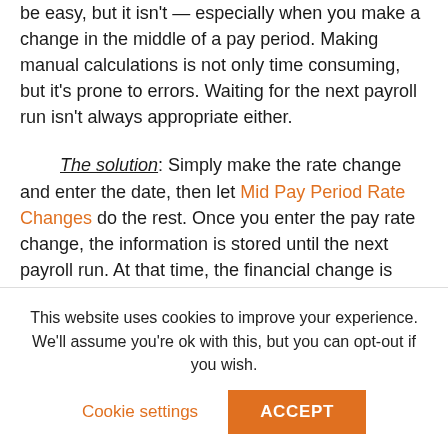be easy, but it isn't — especially when you make a change in the middle of a pay period. Making manual calculations is not only time consuming, but it's prone to errors. Waiting for the next payroll run isn't always appropriate either.

The solution: Simply make the rate change and enter the date, then let Mid Pay Period Rate Changes do the rest. Once you enter the pay rate change, the information is stored until the next payroll run. At that time, the financial change is automatically calculated, updated and processed. Employees will see two line items on the earnings statement indicating the old pay rate and hours on one line with the new pay rate and hours on
This website uses cookies to improve your experience. We'll assume you're ok with this, but you can opt-out if you wish.